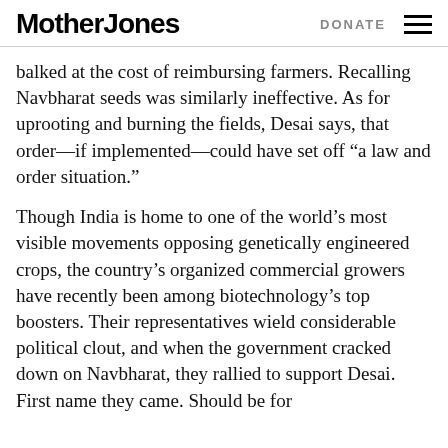Mother Jones   DONATE
balked at the cost of reimbursing farmers. Recalling Navbharat seeds was similarly ineffective. As for uprooting and burning the fields, Desai says, that order—if implemented—could have set off “a law and order situation.”
Though India is home to one of the world’s most visible movements opposing genetically engineered crops, the country’s organized commercial growers have recently been among biotechnology’s top boosters. Their representatives wield considerable political clout, and when the government cracked down on Navbharat, they rallied to support Desai. First name they came. Should be for